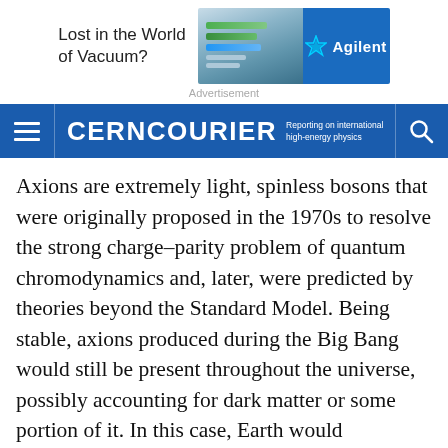[Figure (other): Agilent advertisement banner: 'Lost in the World of Vacuum?' with laptop photo and Agilent blue logo panel]
Advertisement
CERNCOURIER — Reporting on international high-energy physics
Axions are extremely light, spinless bosons that were originally proposed in the 1970s to resolve the strong charge–parity problem of quantum chromodynamics and, later, were predicted by theories beyond the Standard Model. Being stable, axions produced during the Big Bang would still be present throughout the universe, possibly accounting for dark matter or some portion of it. In this case, Earth would experience a “wind” of gravitationally interacting dark-matter particles that would couple to matter and antimatter and periodically modulate their fundamental properties,